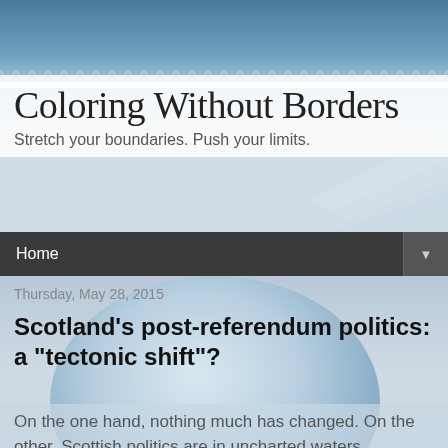Coloring Without Borders
Stretch your boundaries. Push your limits.
Home
Thursday, May 28, 2015
Scotland's post-referendum politics: a "tectonic shift"?
On the one hand, nothing much has changed. On the other, Scottish politics are in uncharted waters.
Last September, the people of Scotland voted in historic numbers and emphatically rejected independence from the United Kingdom. While 45% of the populace wanted independence, 55% percent of voters voted NO, we want to